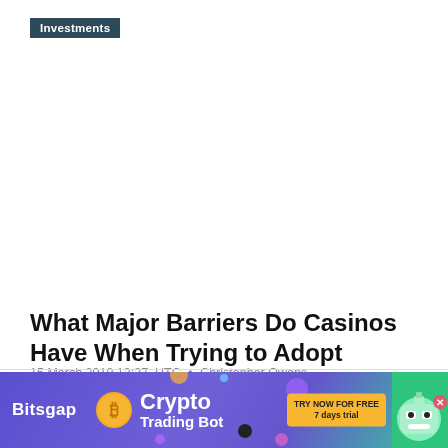Investments
What Major Barriers Do Casinos Have When Trying to Adopt Bitcoin?
15 March 2019 13:37, UTC • Christopher Owens
Online casino companies are open to accepting cryptocurrencies because of the advantages they bring. But still the casino sector is lagging behind when it's about adoption
[Figure (infographic): Bitsgap Crypto Trading Bot advertisement banner with purple/green gradient background, Bitcoin coin icon, robot mascot, and 'TRY NOW FOR FREE 7 days trial' button]